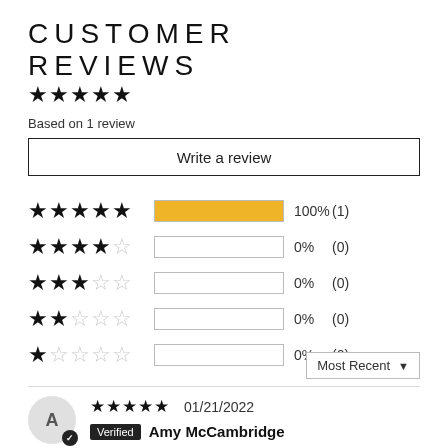CUSTOMER REVIEWS
[Figure (other): 5-star rating summary with 5 filled stars]
Based on 1 review
Write a review
[Figure (bar-chart): Rating distribution]
Most Recent
[Figure (other): 5-star review by Amy McCambridge dated 01/21/2022, verified reviewer]
Verified  Amy McCambridge